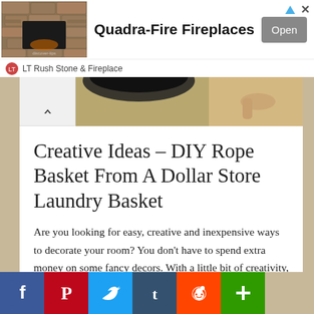[Figure (screenshot): Advertisement banner for Quadra-Fire Fireplaces by LT Rush Stone & Fireplace with an Open button]
[Figure (photo): Partial photo strip showing craft/DIY project materials]
Creative Ideas – DIY Rope Basket From A Dollar Store Laundry Basket
Are you looking for easy, creative and inexpensive ways to decorate your room? You don't have to spend extra money on some fancy decors. With a little bit of creativity, you can use simple props found at your local dollar
[Figure (screenshot): Social share bar with Facebook, Pinterest, Twitter, Tumblr, Reddit, and AddThis buttons]